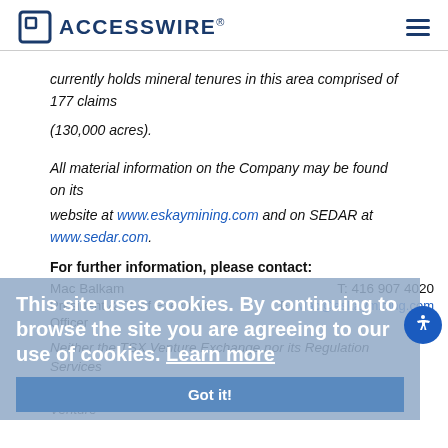ACCESSWIRE
currently holds mineral tenures in this area comprised of 177 claims (130,000 acres).
All material information on the Company may be found on its website at www.eskaymining.com and on SEDAR at www.sedar.com.
For further information, please contact:
Mac Balkam
T: 416 907 4020
President & Chief Executive
E: Mac@eskaymining.com
Officer
This site uses cookies. By continuing to browse the site you are agreeing to our use of cookies. Learn more
Got it!
Neither the TSX Venture Exchange nor its Regulation Services
Provider (as that term is defined in the policies of the TSX Venture